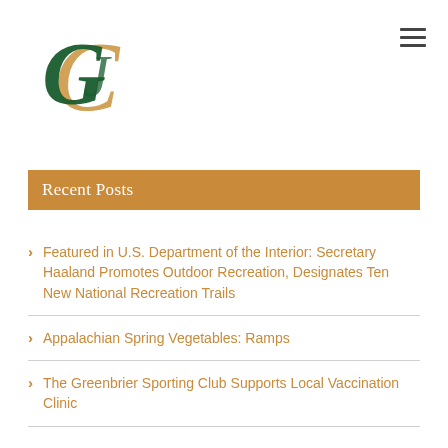[Figure (logo): Greenbrier Sporting Club monogram logo with overlapping G, S, C letters in dark green and gold/bronze colors]
Recent Posts
Featured in U.S. Department of the Interior: Secretary Haaland Promotes Outdoor Recreation, Designates Ten New National Recreation Trails
Appalachian Spring Vegetables: Ramps
The Greenbrier Sporting Club Supports Local Vaccination Clinic